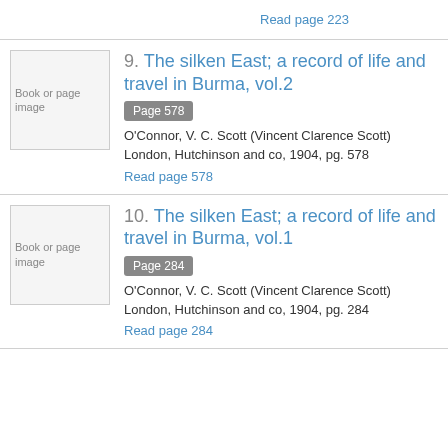Read page 223
9. The silken East; a record of life and travel in Burma, vol.2
Page 578
O'Connor, V. C. Scott (Vincent Clarence Scott)
London, Hutchinson and co, 1904, pg. 578
Read page 578
10. The silken East; a record of life and travel in Burma, vol.1
Page 284
O'Connor, V. C. Scott (Vincent Clarence Scott)
London, Hutchinson and co, 1904, pg. 284
Read page 284